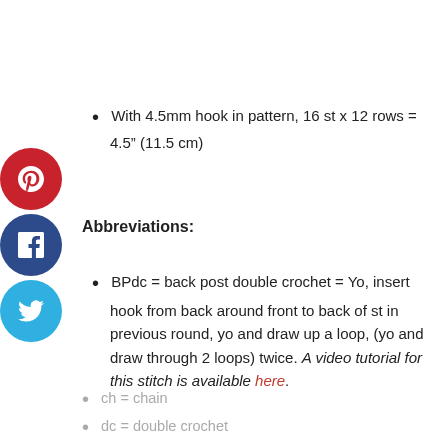With 4.5mm hook in pattern, 16 st x 12 rows = 4.5" (11.5 cm)
Abbreviations:
BPdc = back post double crochet = Yo, insert hook from back around front to back of st in previous round, yo and draw up a loop, (yo and draw through 2 loops) twice. A video tutorial for this stitch is available here.
ch = chain
dc = double crochet